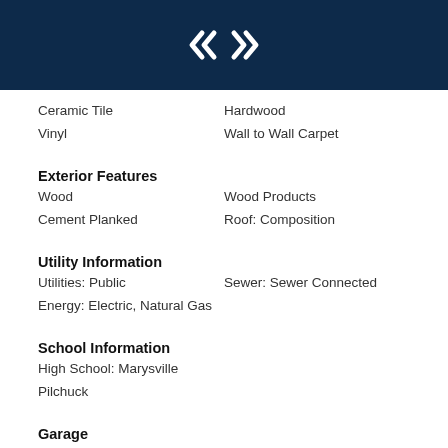[Figure (logo): Real estate company logo — white diamond/arrow icon on dark navy background]
Ceramic Tile
Hardwood
Vinyl
Wall to Wall Carpet
Exterior Features
Wood
Wood Products
Cement Planked
Roof: Composition
Utility Information
Utilities: Public
Sewer: Sewer Connected
Energy: Electric, Natural Gas
School Information
High School: Marysville Pilchuck
Garage
Garage-Attached
Off-Street Parking